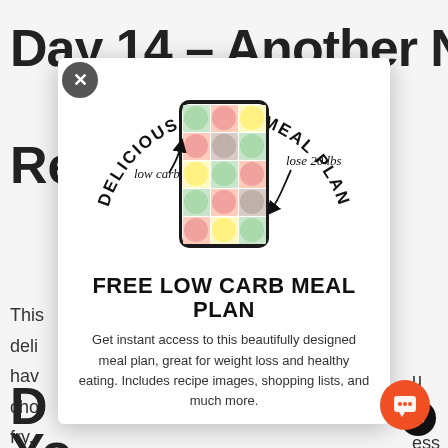Day 14 – Another Now
Re
This deli have cho fry. sug sto
[Figure (illustration): Modal popup showing a promotional advertisement for a 'Delicious 14 Day Meal Plan' with a phone mockup displaying a grid of food photos. Curved text at top reads 'DELICIOUS 14 DAY MEAL PLAN'. Annotations with arrows say 'low carb' pointing to phone and 'lose 20 lbs' on the right. Below the image: 'FREE LOW CARB MEAL PLAN' heading and body text 'Get instant access to this beautifully designed meal plan, great for weight loss and healthy eating. Includes recipe images, shopping lists, and much more.']
D
Yo